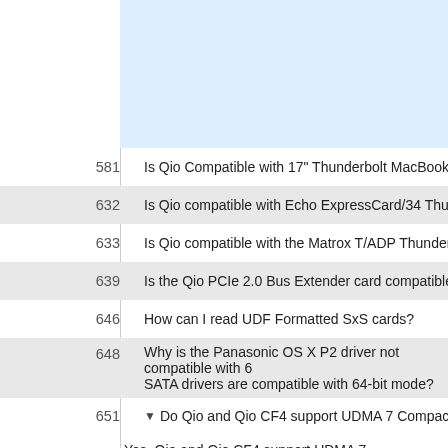[Figure (other): Light blue box at top right, partially visible]
581   Is Qio Compatible with 17" Thunderbolt MacBook Pro?
632   Is Qio compatible with Echo ExpressCard/34 Thunderbolt A...
633   Is Qio compatible with the Matrox T/ADP Thunderbolt Port ...
639   Is the Qio PCIe 2.0 Bus Extender card compatible in all slo...
646   How can I read UDF Formatted SxS cards?
648   Why is the Panasonic OS X P2 driver not compatible with 6... SATA drivers are compatible with 64-bit mode?
651 ▼ Do Qio and Qio CF4 support UDMA 7 CompactFlash cards...
Yes, Qio and Qio CF4 support UDMA 7 CompactFlash car...
Background: CompactFlash Revision 6.0 (November 201... (133MB/sec). All UDMA 7 CompactFlash cards are compa...
The Qio's CompactFlash slots can be read concurrently. T... 200MB/s (two cards).
The Qio CF4 can read all four CompactFlash slots concurr... 133MB/sec (one card), 266MB/sec (two cards), 400MB/se...